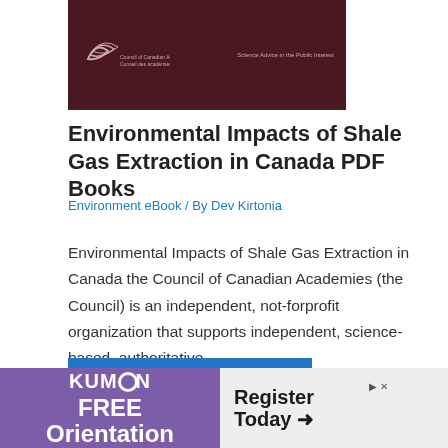[Figure (photo): Book cover for 'Environmental Impacts of Shale Gas Extraction in Canada' — dark maroon/brown background with Council of Canadian Academies logo and text 'Science Advice in the Public Interest']
Environmental Impacts of Shale Gas Extraction in Canada PDF Books
Environment eBook / By Dev Kirtonia
Environmental Impacts of Shale Gas Extraction in Canada the Council of Canadian Academies (the Council) is an independent, not-forprofit organization that supports independent, science-based, authoritative…
Read More »